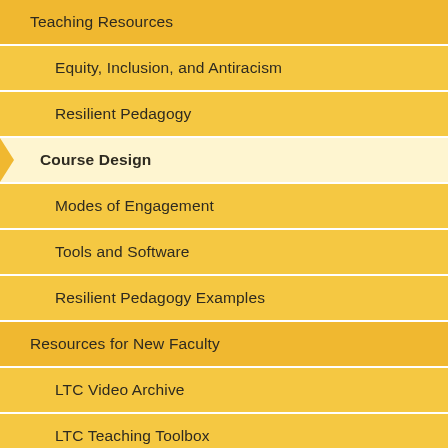Teaching Resources
Equity, Inclusion, and Antiracism
Resilient Pedagogy
Course Design
Modes of Engagement
Tools and Software
Resilient Pedagogy Examples
Resources for New Faculty
LTC Video Archive
LTC Teaching Toolbox
National Center for Faculty Development &